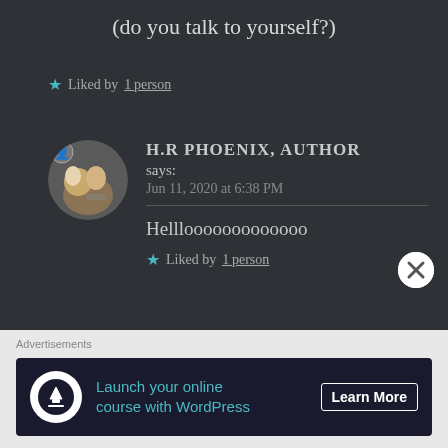(do you talk to yourself?)
★ Liked by 1 person
H.R PHOENIX, AUTHOR says: Jun 11, 2020 at 6:38 PM
Helllooooooooooooo
★ Liked by 1 person
[Figure (other): Close button (X) circle icon]
Advertisements
[Figure (other): Advertisement banner: Launch your online course with WordPress - Learn More]